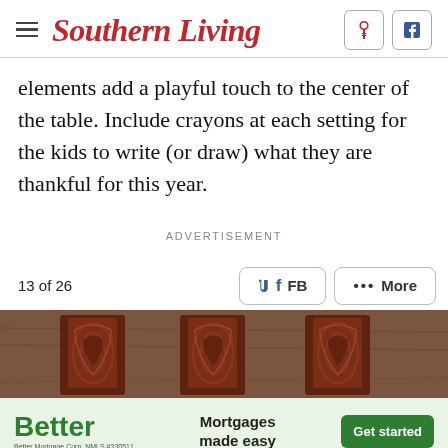Southern Living
elements add a playful touch to the center of the table. Include crayons at each setting for the kids to write (or draw) what they are thankful for this year.
ADVERTISEMENT
13 of 26
[Figure (photo): Bottom portion showing ornate dark wood chair backs with carved decorative details on a wooden surface, partially visible]
[Figure (other): Better Mortgage advertisement banner: 'Better Mortgages made easy' with green Get started button]